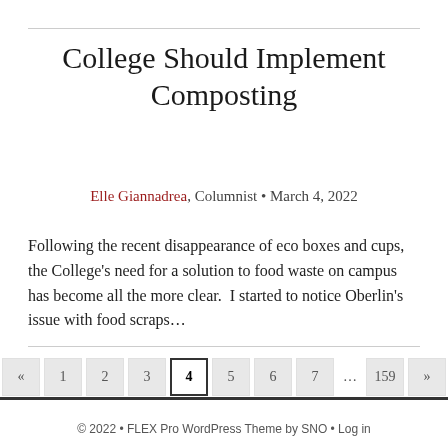College Should Implement Composting
Elle Giannadrea, Columnist • March 4, 2022
Following the recent disappearance of eco boxes and cups, the College's need for a solution to food waste on campus has become all the more clear.  I started to notice Oberlin's issue with food scraps...
© 2022 • FLEX Pro WordPress Theme by SNO • Log in